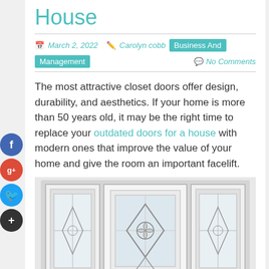House
March 2, 2022   Carolyn cobb   Business And Management   No Comments
The most attractive closet doors offer design, durability, and aesthetics. If your home is more than 50 years old, it may be the right time to replace your outdated doors for a house with modern ones that improve the value of your home and give the room an important facelift.
[Figure (photo): White front door with two sidelights featuring decorative diamond/floral glass inserts]